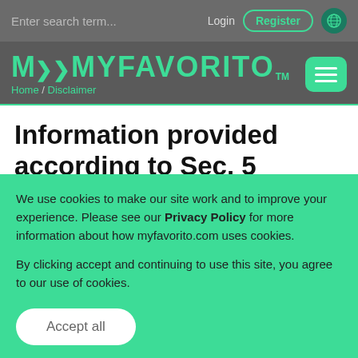Enter search term... Login Register
[Figure (logo): MyFavorito logo with navigation bar showing Home / Disclaimer breadcrumb and hamburger menu]
Information provided according to Sec. 5 German Telemedia Act (TMG):
MyFavorito GmbH...
We use cookies to make our site work and to improve your experience. Please see our Privacy Policy for more information about how myfavorito.com uses cookies.

By clicking accept and continuing to use this site, you agree to our use of cookies.
Accept all